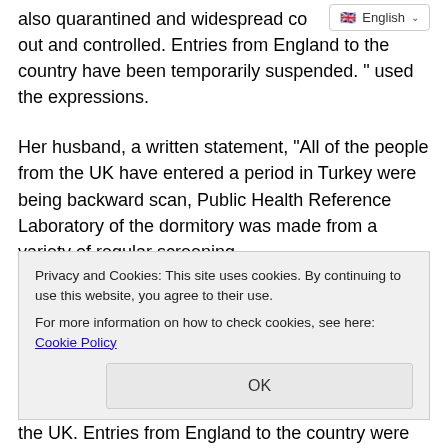also quarantined and widespread contact tracing was also carried out and controlled. Entries from England to the country have been temporarily suspended. " used the expressions.
[Figure (screenshot): Language selector UI element showing a flag emoji and 'English' text with a dropdown chevron]
Her husband, a written statement, "All of the people from the UK have entered a period in Turkey were being backward scan, Public Health Reference Laboratory of the dormitory was made from a variety of regular screening.
As a result of retrospective screenings of people who recently entered the country from England and had a positive PCR test result, a virus load compatible with the new mutation was detected in 15 people. These people have been in isolation
Privacy and Cookies: This site uses cookies. By continuing to use this website, you agree to their use.
For more information on how to check cookies, see here: Cookie Policy
the UK. Entries from England to the country were temporarily